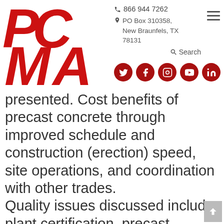[Figure (logo): PCMA logo in red with stylized letters P, C, M, A]
866 944 7262
PO Box 310358, New Braunfels, TX 78131
Search
presented. Cost benefits of precast concrete through improved schedule and construction (erection) speed, site operations, and coordination with other trades.
Quality issues discussed include plant certification, precast concrete durability, and quality of precast concrete products and